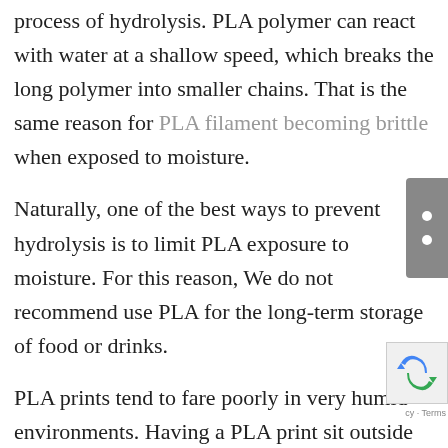process of hydrolysis. PLA polymer can react with water at a shallow speed, which breaks the long polymer into smaller chains. That is the same reason for PLA filament becoming brittle when exposed to moisture.
Naturally, one of the best ways to prevent hydrolysis is to limit PLA exposure to moisture. For this reason, We do not recommend use PLA for the long-term storage of food or drinks.
PLA prints tend to fare poorly in very humid environments. Having a PLA print sit outside under the rain is also a sure way to break down faster.
Sunshine